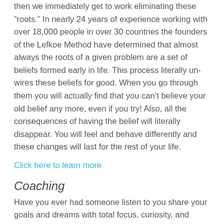then we immediately get to work eliminating these “roots.” In nearly 24 years of experience working with over 18,000 people in over 30 countries the founders of the Lefkoe Method have determined that almost always the roots of a given problem are a set of beliefs formed early in life. This process literally un-wires these beliefs for good. When you go through them you will actually find that you can’t believe your old belief any more, even if you try! Also, all the consequences of having the belief will literally disappear. You will feel and behave differently and these changes will last for the rest of your life.
Click here to learn more
Coaching
Have you ever had someone listen to you share your goals and dreams with total focus, curiosity, and objectivity and share their perspective from an unbiased point of view that left you inspired, excited, and full of actionable momentum?What would that do for you?